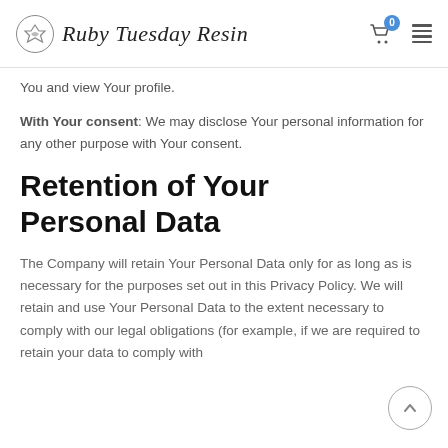Ruby Tuesday Resin
You and view Your profile.
With Your consent: We may disclose Your personal information for any other purpose with Your consent.
Retention of Your Personal Data
The Company will retain Your Personal Data only for as long as is necessary for the purposes set out in this Privacy Policy. We will retain and use Your Personal Data to the extent necessary to comply with our legal obligations (for example, if we are required to retain your data to comply with